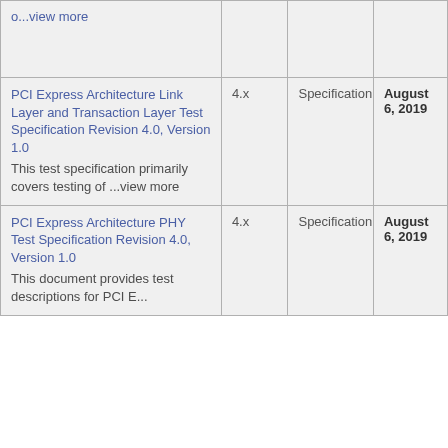| Name | Version | Type | Date |
| --- | --- | --- | --- |
| o...view more |  |  |  |
| PCI Express Architecture Link Layer and Transaction Layer Test Specification Revision 4.0, Version 1.0
This test specification primarily covers testing of ...view more | 4.x | Specification | August 6, 2019 |
| PCI Express Architecture PHY Test Specification Revision 4.0, Version 1.0
This document provides test descriptions for PCI E... | 4.x | Specification | August 6, 2019 |